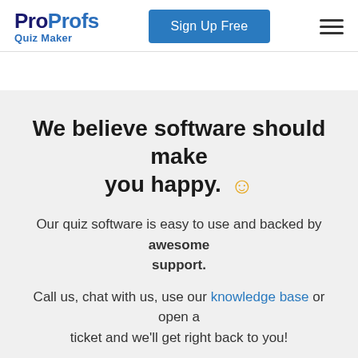ProProfs Quiz Maker | Sign Up Free
We believe software should make you happy. 🙂
Our quiz software is easy to use and backed by awesome support.
Call us, chat with us, use our knowledge base or open a ticket and we'll get right back to you!
Sign Up Free